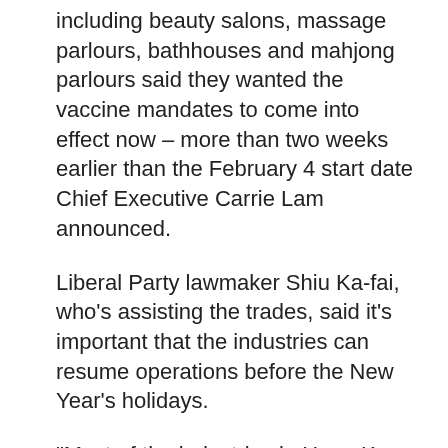including beauty salons, massage parlours, bathhouses and mahjong parlours said they wanted the vaccine mandates to come into effect now – more than two weeks earlier than the February 4 start date Chief Executive Carrie Lam announced.
Liberal Party lawmaker Shiu Ka-fai, who's assisting the trades, said it's important that the industries can resume operations before the New Year's holidays.
"Most of the industries in Hong Kong will have a good business at the end of the [lunar] year... So if the government allows those industries to open before the end of this year, like next week, if they are willing to do the vaccine bubble... I think all those industries are happy to do so," he said.
Venues like bathhouses and mahjong parlours were already subject to the vaccine mandate before they